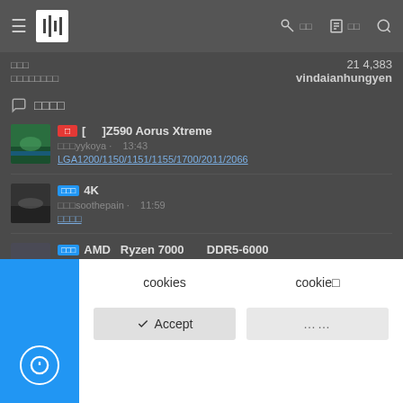≡ [logo icon] 🔑 □□ 📋 □□ 🔍
□□□  21 4,383
□□□□□□□□  vindaianhungyen
○ □□□□
[□] Z590 Aorus Xtreme
□□□yykoya · 13:43
LGA1200/1150/1151/1155/1700/2011/2066
□□□ 4K
□□□soothepain · 11:59
□□□□
□□□ AMD Ryzen 7000 DDR5-6000
cookies  cookie□
✓ Accept  ......